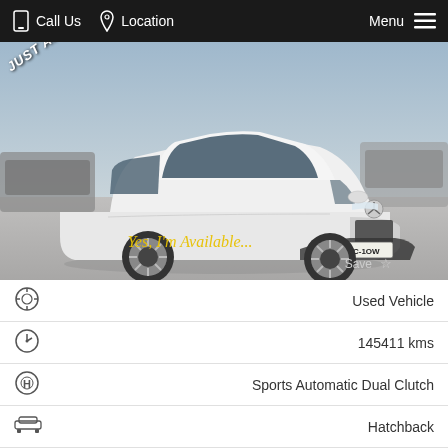Call Us   Location   Menu
[Figure (photo): White Mercedes-Benz hatchback (A-Class) in a car dealership lot with 'JUST ARRIVED' banner, license plate DMC-1OW, overlay text 'Yes, I'm Available...' in yellow and 'Save' with star icon]
Used Vehicle
145411 kms
Sports Automatic Dual Clutch
Hatchback
122 Melrose Drive (Next to Capital Honda)